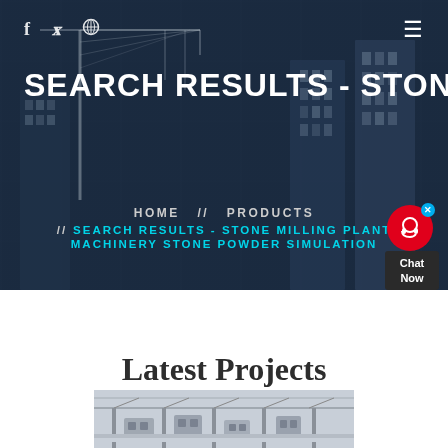f  🐦  ⊕  ≡
SEARCH RESULTS - STONE MILL
HOME  //  PRODUCTS  //  SEARCH RESULTS - STONE MILLING PLANT MACHINERY STONE POWDER SIMULATION
[Figure (photo): Red chat support widget with headset icon and 'Chat Now' label]
Latest Projects
[Figure (photo): Industrial milling plant machinery under structural roof framework]